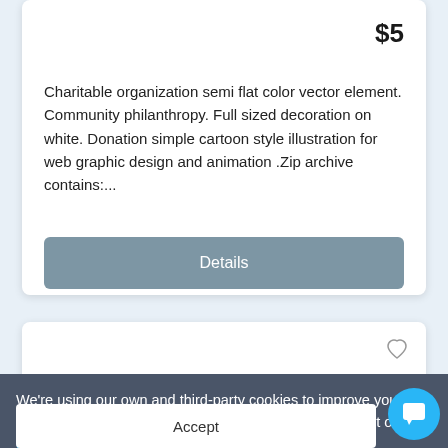$5
Charitable organization semi flat color vector element. Community philanthropy. Full sized decoration on white. Donation simple cartoon style illustration for web graphic design and animation .Zip archive contains:...
Details
We're using our own and third-party cookies to improve your experience and our website. Keep on browsing to accept our cookie policy.
Accept